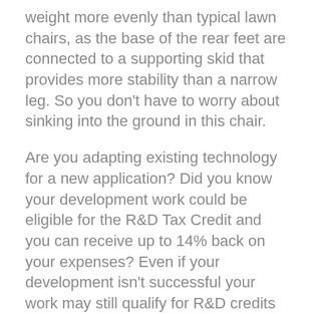weight more evenly than typical lawn chairs, as the base of the rear feet are connected to a supporting skid that provides more stability than a narrow leg. So you don't have to worry about sinking into the ground in this chair.
Are you adapting existing technology for a new application? Did you know your development work could be eligible for the R&D Tax Credit and you can receive up to 14% back on your expenses? Even if your development isn't successful your work may still qualify for R&D credits (i.e. you don't need to have a patent to qualify). To find out more, please contact a Swanson Reed R&D Specialist today or check out our free online eligibility test.
Who We Are: